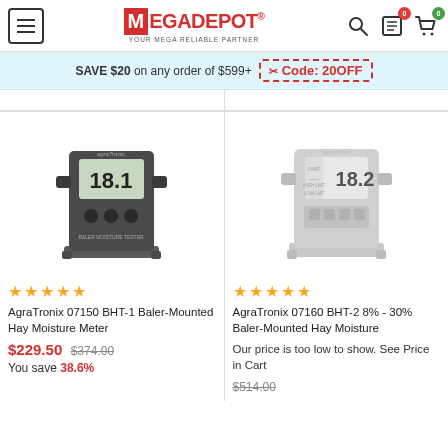[Figure (logo): MegaDepot logo with red M icon and tagline YOUR MEGA RELIABLE PARTNER]
SAVE $20 on any order of $599+ Code: 20OFF
[Figure (photo): AgraTronix 07150 BHT-1 Baler-Mounted Hay Moisture Meter product photo]
[Figure (photo): AgraTronix 07160 BHT-2 Baler-Mounted Hay Moisture Meter product photo]
AgraTronix 07150 BHT-1 Baler-Mounted Hay Moisture Meter
$229.50  $374.00 You save 38.6%
AgraTronix 07160 BHT-2 8% - 30% Baler-Mounted Hay Moisture
Our price is too low to show. See Price in Cart $514.00